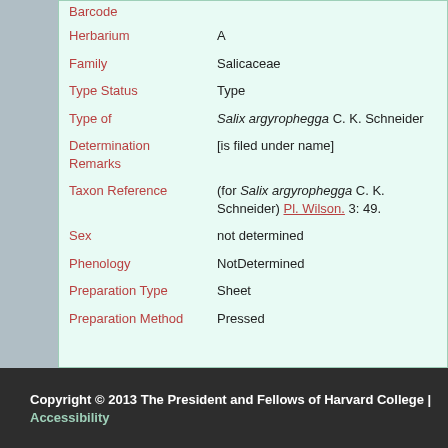| Field | Value |
| --- | --- |
| Barcode |  |
| Herbarium | A |
| Family | Salicaceae |
| Type Status | Type |
| Type of | Salix argyrophegga C. K. Schneider |
| Determination Remarks | [is filed under name] |
| Taxon Reference | (for Salix argyrophegga C. K. Schneider) Pl. Wilson. 3: 49. |
| Sex | not determined |
| Phenology | NotDetermined |
| Preparation Type | Sheet |
| Preparation Method | Pressed |
Copyright © 2013 The President and Fellows of Harvard College | Accessibility